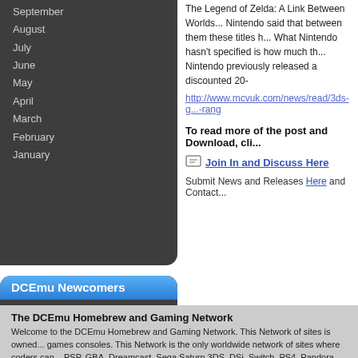September
August
July
June
May
April
March
February
January
DCEmu Newcomers
Username: HanoraSakura99 Posts: 0
Username: ConnorMould Posts: 1
Username: Nuchita99 Posts: 2
Username: bahman00 Posts: 0
Username: adilsardar Posts: 1
The Legend of Zelda: A Link Between Worlds... Nintendo said that between them these titles h... What Nintendo hasn't specified is how much th... Nintendo previously released a discounted 20-
http://www.mcvuk.com/news/read/3ds-g...-rang
To read more of the post and Download, cli...
Join In and Discuss Here
Submit News and Releases Here and Contact...
The DCEmu Homebrew and Gaming Network
Welcome to the DCEmu Homebrew and Gaming Network. This Network of sites is owned... games consoles. This Network is the only worldwide network of sites where coders can... PSP, GBA, Dreamcast, Sega Saturn,3DS, DSi, Switch, PS4, Pandora, xboxone, GP2X,... wines and spirits. news of their own releases and get the credit and Please help DCEmu...